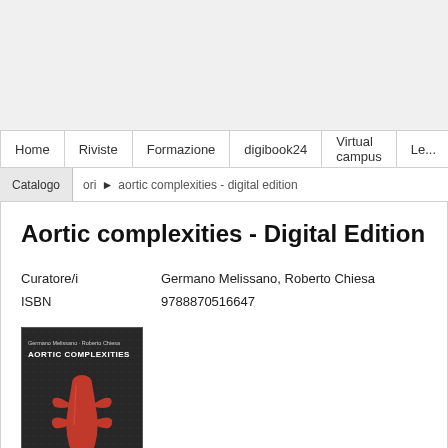Home | Riviste | Formazione | digibook24 | Virtual campus | Le...
Catalogo ▶ aortic complexities - digital edition
Aortic complexities - Digital Edition
|  |  |
| --- | --- |
| Curatore/i | Germano Melissano, Roberto Chiesa |
| ISBN | 9788870516647 |
[Figure (photo): Book cover of Aortic Complexities showing a red aorta illustration on a dark background with the title text visible]